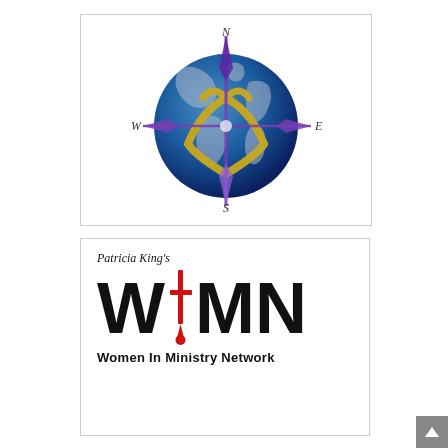[Figure (logo): Compass rose with N/S/E/W labels overlaid on a globe (earth), with a gold heart/checkmark shape and purple compass needles pointing north and south, and a purple horizontal bar east-west.]
[Figure (logo): Patricia King's WIMN (Women In Ministry Network) logo. 'Patricia King's' in italic serif, then large bold 'W' 'I' letters, a red sword icon replacing the 'I' in center, then 'MN' in large bold, with 'Women In Ministry Network' below in bold.]